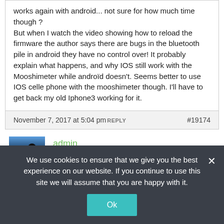works again with android... not sure for how much time though ? But when I watch the video showing how to reload the firmware the author says there are bugs in the bluetooth pile in android they have no control over! It probably explain what happens, and why IOS still work with the Mooshimeter while androïd doesn't. Seems better to use IOS celle phone with the mooshimeter though. I'll have to get back my old Iphone3 working for it.
November 7, 2017 at 5:04 pm REPLY #19174
admin Keymaster
We use cookies to ensure that we give you the best experience on our website. If you continue to use this site we will assume that you are happy with it. Ok